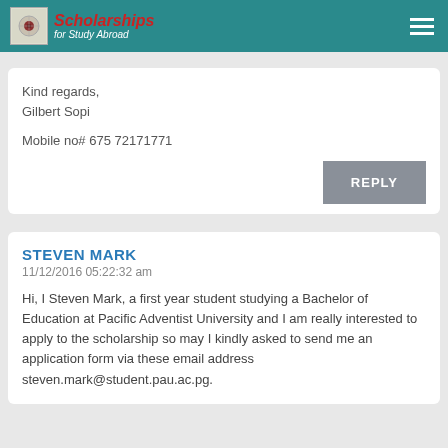Scholarships for Study Abroad
Kind regards,
Gilbert Sopi

Mobile no# 675 72171771
REPLY
STEVEN MARK
11/12/2016 05:22:32 am
Hi, I Steven Mark, a first year student studying a Bachelor of Education at Pacific Adventist University and I am really interested to apply to the scholarship so may I kindly asked to send me an application form via these email address steven.mark@student.pau.ac.pg.